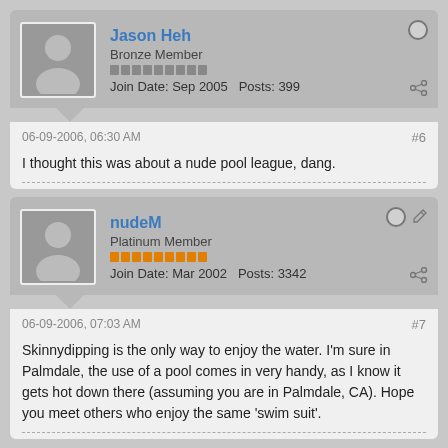Jason Heh — Bronze Member — Join Date: Sep 2005  Posts: 399
06-09-2006, 06:30 AM  #6
I thought this was about a nude pool league, dang.
nudeM — Platinum Member — Join Date: Mar 2002  Posts: 3342
06-09-2006, 07:03 AM  #7
Skinnydipping is the only way to enjoy the water. I'm sure in Palmdale, the use of a pool comes in very handy, as I know it gets hot down there (assuming you are in Palmdale, CA). Hope you meet others who enjoy the same 'swim suit'.